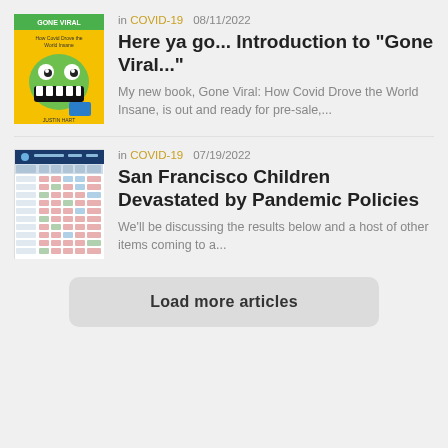[Figure (illustration): Book cover for 'Gone Viral: How Covid Drove the World Insane' by Justin Hart, yellow/green cover with cartoon monster]
in COVID-19   08/11/2022
Here ya go... Introduction to "Gone Viral..."
My new book, Gone Viral: How Covid Drove the World Insane, is out and ready for pre-sale,...
[Figure (screenshot): Screenshot of a data table with blue header and rows of data with colored cells]
in COVID-19   07/19/2022
San Francisco Children Devastated by Pandemic Policies
We'll be discussing the results below and a host of other items coming to a...
Load more articles